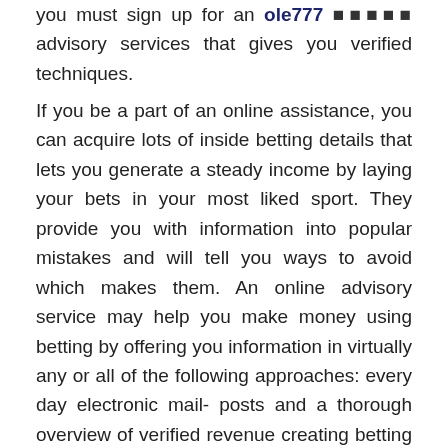you must sign up for an ole777 [corrupted text] advisory services that gives you verified techniques.
If you be a part of an online assistance, you can acquire lots of inside betting details that lets you generate a steady income by laying your bets in your most liked sport. They provide you with information into popular mistakes and will tell you ways to avoid which makes them. An online advisory service may help you make money using betting by offering you information in virtually any or all of the following approaches: every day electronic mail- posts and a thorough overview of verified revenue creating betting and forex trading tactics; move-by-step directions, breakthrough suggestions and quick way; support teams and regular genuine-time 'live' online investing sessions. All of these will improve the chances of you boosting your earnings.